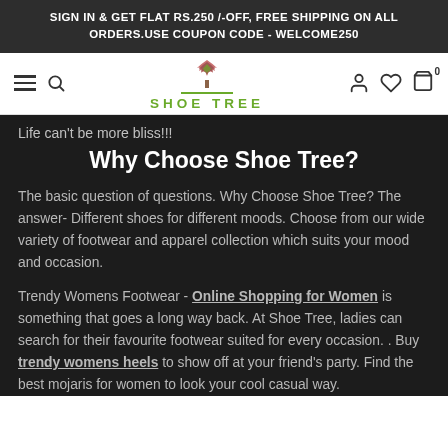SIGN IN & GET FLAT RS.250 /-OFF, FREE SHIPPING ON ALL ORDERS.USE COUPON CODE - WELCOME250
[Figure (logo): Shoe Tree logo with a tree illustration in pink/brown and green text reading SHOE TREE with navigation icons]
Life can't be more bliss!!!
Why Choose Shoe Tree?
The basic question of questions. Why Choose Shoe Tree? The answer- Different shoes for different moods. Choose from our wide variety of footwear and apparel collection which suits your mood and occasion.
Trendy Womens Footwear - Online Shopping for Women is something that goes a long way back. At Shoe Tree, ladies can search for their favourite footwear suited for every occasion. . Buy trendy womens heels to show off at your friend's party. Find the best mojaris for women to look your cool casual way.